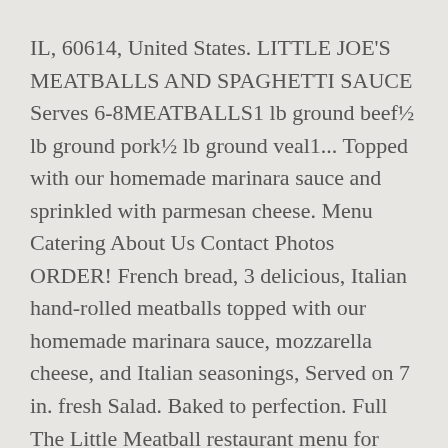IL, 60614, United States. LITTLE JOE'S MEATBALLS AND SPAGHETTI SAUCE Serves 6-8MEATBALLS1 lb ground beef½ lb ground pork½ lb ground veal1... Topped with our homemade marinara sauce and sprinkled with parmesan cheese. Menu Catering About Us Contact Photos ORDER! French bread, 3 delicious, Italian hand-rolled meatballs topped with our homemade marinara sauce, mozzarella cheese, and Italian seasonings, Served on 7 in. fresh Salad. Baked to perfection. Full The Little Meatball restaurant menu for location 2364 N Lincoln Ave Chicago, IL 60614. Place a future order or. French bread, 3 delicious hand rolled, mushroom-based veggie